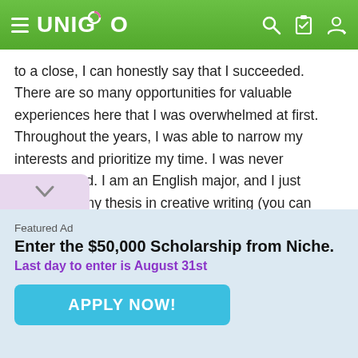UNIGO
to a close, I can honestly say that I succeeded. There are so many opportunities for valuable experiences here that I was overwhelmed at first. Throughout the years, I was able to narrow my interests and prioritize my time. I was never disappointed. I am an English major, and I just completed my thesis in creative writing (you can write anything you want!). I'm an education minor and have volunteered at local elementary schools in Durham every semester. As a musical theater actor, I've done 4 in the last year. I started the Duke Baking Club. In
Featured Ad
Enter the $50,000 Scholarship from Niche.
Last day to enter is August 31st
APPLY NOW!